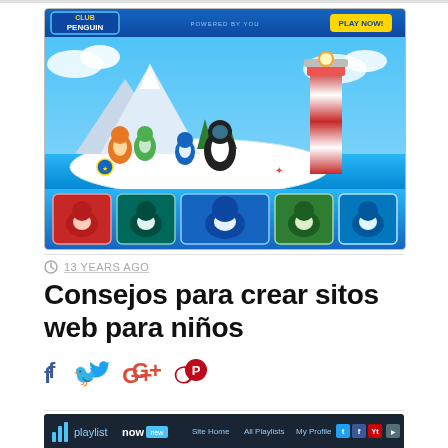[Figure (screenshot): Club Penguin website screenshot showing the game's island scene with penguin characters, a lighthouse, mountains, and a character selection bar at the bottom. The header shows the Club Penguin logo and PLAY NOW button.]
13 YEARS AGO
Consejos para crear sitos web para niños
[Figure (screenshot): Partial screenshot of another website (playlist now) showing its header/navigation bar in dark color.]